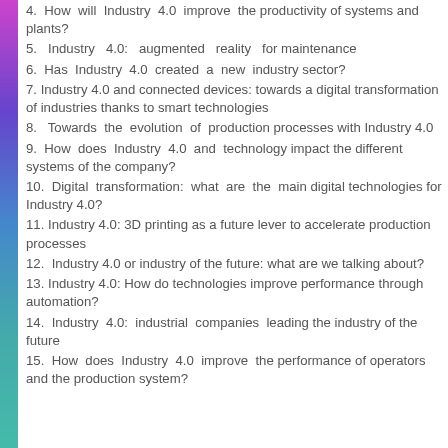4.  How will Industry 4.0 improve the productivity of systems and plants?
5.  Industry 4.0: augmented reality for maintenance
6.  Has Industry 4.0 created a new industry sector?
7. Industry 4.0 and connected devices: towards a digital transformation of industries thanks to smart technologies
8.  Towards the evolution of production processes with Industry 4.0
9.  How does Industry 4.0 and technology impact the different systems of the company?
10.  Digital transformation: what are the main digital technologies for Industry 4.0?
11. Industry 4.0: 3D printing as a future lever to accelerate production processes
12.  Industry 4.0 or industry of the future: what are we talking about?
13. Industry 4.0: How do technologies improve performance through automation?
14.  Industry 4.0: industrial companies leading the industry of the future
15.  How does Industry 4.0 improve the performance of operators and the production system?